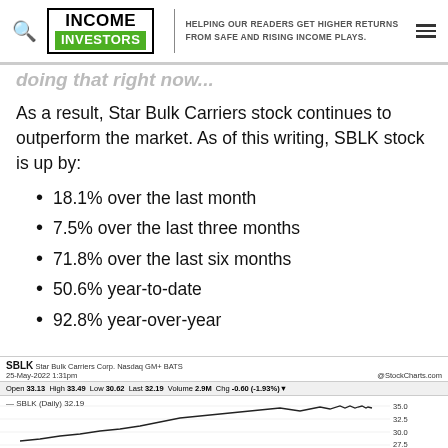INCOME INVESTORS — HELPING OUR READERS GET HIGHER RETURNS FROM SAFE AND RISING INCOME PLAYS.
doing that right now...
As a result, Star Bulk Carriers stock continues to outperform the market. As of this writing, SBLK stock is up by:
18.1% over the last month
7.5% over the last three months
71.8% over the last six months
50.6% year-to-date
92.8% year-over-year
[Figure (screenshot): SBLK Star Bulk Carriers Corp. Nasdaq GM+ BATS stock chart from StockCharts.com dated 25-May-2022 1:31pm. Open 33.13 High 33.49 Low 30.62 Last 32.19 Volume 2.9M Chg -0.60 (-1.93%). Shows SBLK (Daily) 32.19 candlestick/line chart with price range approximately 27.5 to 35.0.]